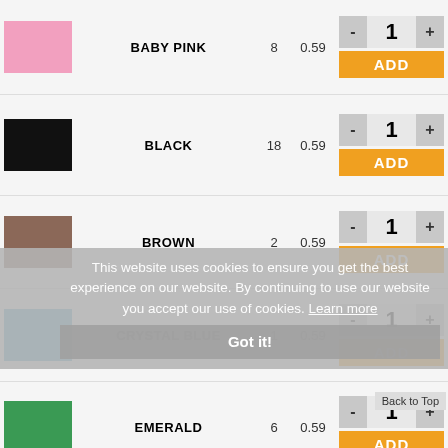| Color | Name | Qty | Price | Controls |
| --- | --- | --- | --- | --- |
| BABY PINK swatch | BABY PINK | 8 | 0.59 | - 1 + / ADD |
| BLACK swatch | BLACK | 18 | 0.59 | - 1 + / ADD |
| BROWN swatch | BROWN | 2 | 0.59 | - 1 + / ADD |
| CRYSTAL BLUE swatch | CRYSTAL BLUE | 1 | 0.59 | - 1 + / ADD |
| EMERALD swatch | EMERALD | 6 | 0.59 | - 1 + / ADD |
This website uses cookies to ensure you get the best experience on our website. By continuing to use our website you accept our use of cookies. Learn more
Got it!
Back to Top